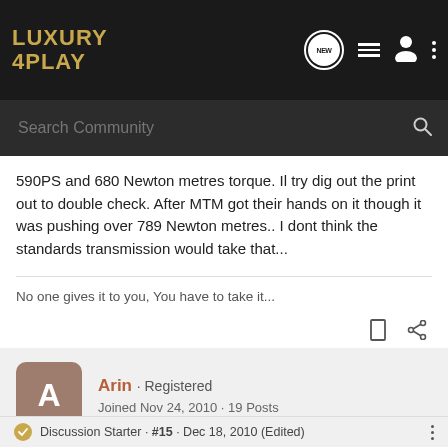[Figure (logo): Luxury 4 Play forum logo in gold/yellow text on dark background]
Search Community
590PS and 680 Newton metres torque. Il try dig out the print out to double check. After MTM got their hands on it though it was pushing over 789 Newton metres.. I dont think the standards transmission would take that...
No one gives it to you, You have to take it...
Arin · Registered
Joined Nov 24, 2010 · 19 Posts
Discussion Starter · #15 · Dec 18, 2010 (Edited)